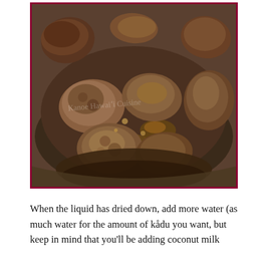[Figure (photo): A close-up photo of braised or sautéed meat pieces (likely pork or beef) in a dark cooking pot or wok, with some caramelized liquid/sauce. The meat appears browned and cooked down. A faint watermark text is visible across the middle of the image.]
When the liquid has dried down, add more water (as much water for the amount of kådu you want, but keep in mind that you'll be adding coconut milk